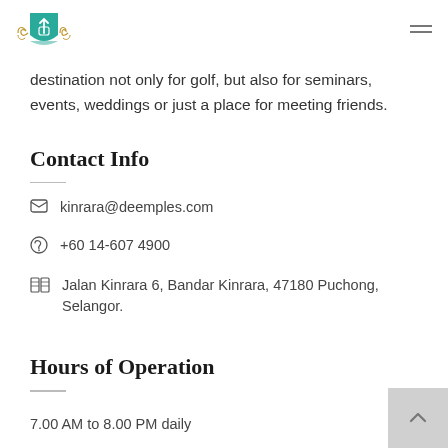[Figure (logo): Club/organization crest logo with teal shield and decorative elements]
destination not only for golf, but also for seminars, events, weddings or just a place for meeting friends.
Contact Info
kinrara@deemples.com
+60 14-607 4900
Jalan Kinrara 6, Bandar Kinrara, 47180 Puchong, Selangor.
Hours of Operation
7.00 AM to 8.00 PM daily